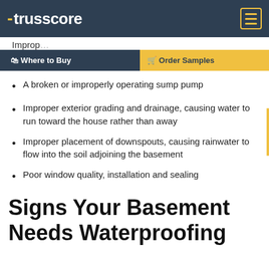trusscore
Improp...
A broken or improperly operating sump pump
Improper exterior grading and drainage, causing water to run toward the house rather than away
Improper placement of downspouts, causing rainwater to flow into the soil adjoining the basement
Poor window quality, installation and sealing
Signs Your Basement Needs Waterproofing